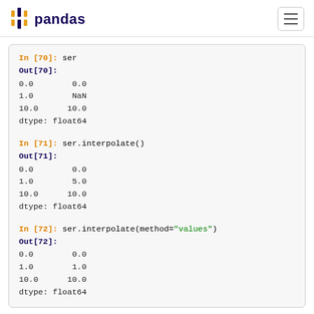pandas
In [70]: ser
Out[70]:
0.0      0.0
1.0      NaN
10.0    10.0
dtype: float64

In [71]: ser.interpolate()
Out[71]:
0.0      0.0
1.0      5.0
10.0    10.0
dtype: float64

In [72]: ser.interpolate(method="values")
Out[72]:
0.0      0.0
1.0      1.0
10.0    10.0
dtype: float64